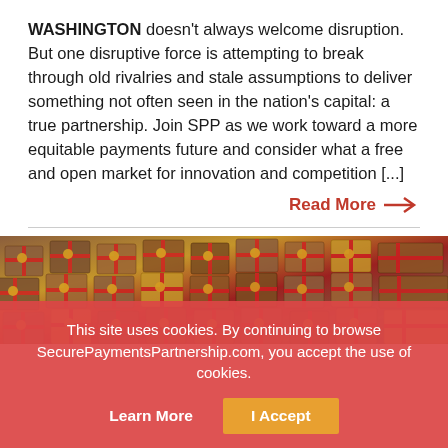WASHINGTON doesn't always welcome disruption. But one disruptive force is attempting to break through old rivalries and stale assumptions to deliver something not often seen in the nation's capital: a true partnership. Join SPP as we work toward a more equitable payments future and consider what a free and open market for innovation and competition [...]
Read More →
[Figure (photo): Photo of many wrapped gift boxes with red ribbons arranged in rows, viewed from above at an angle]
This site uses cookies. By continuing to browse SecurePaymentsPartnership.com, you accept the use of cookies.
Learn More
I Accept